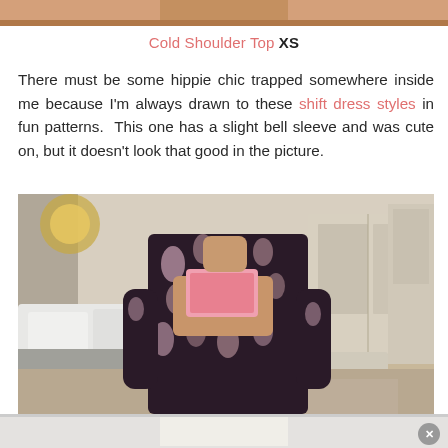[Figure (photo): Top portion of a person's legs visible, cropped photo at top of page]
Cold Shoulder Top XS
There must be some hippie chic trapped somewhere inside me because I'm always drawn to these shift dress styles in fun patterns.  This one has a slight bell sleeve and was cute on, but it doesn't look that good in the picture.
[Figure (photo): Person wearing a dark patterned shift dress with bell sleeves taking a mirror selfie in a bedroom]